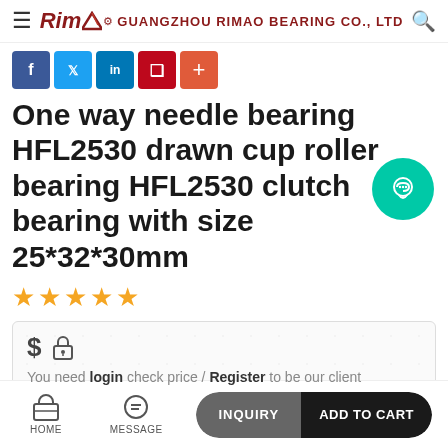GUANGZHOU RIMAO BEARING CO., LTD
[Figure (logo): RIMAO logo with stylized arrow and company name GUANGZHOU RIMAO BEARING CO., LTD]
One way needle bearing HFL2530 drawn cup roller bearing HFL2530 clutch bearing with size 25*32*30mm
★★★★★
$ 🔒
You need login check price / Register to be our client
Item No.  HFL2530
MOQ  10 Piece
HOME  MESSAGE  INQUIRY  ADD TO CART